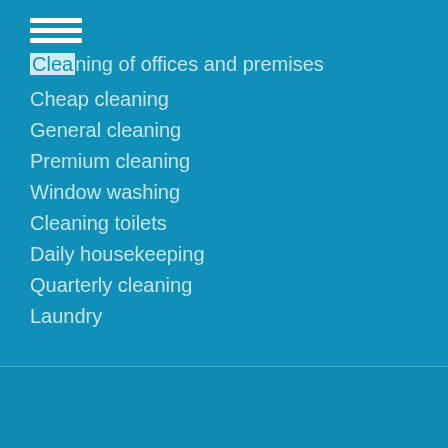Cleaning of offices and premises
Cheap cleaning
General cleaning
Premium cleaning
Window washing
Cleaning toilets
Daily housekeeping
Quarterly cleaning
Laundry
SKAD Industries © 2016.
All rights reserved.
Website development